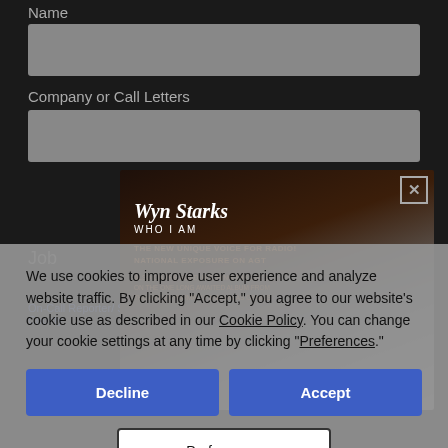Name
[Figure (screenshot): Gray form input field for Name]
Company or Call Letters
[Figure (screenshot): Gray form input field for Company or Call Letters]
[Figure (infographic): Wyn Starks 'Who I Am' advertisement banner. Shows text: 'Wyn Starks WHO I AM - THE NEW UNIQUE VOICE FOR RADIO! NATIONAL EXPOSURE ON AGT' with photo of a man in striped shirt. Close button X in top right corner.]
We use cookies to improve user experience and analyze website traffic. By clicking "Accept," you agree to our website's cookie use as described in our Cookie Policy. You can change your cookie settings at any time by clicking "Preferences."
Decline
Accept
Preferences